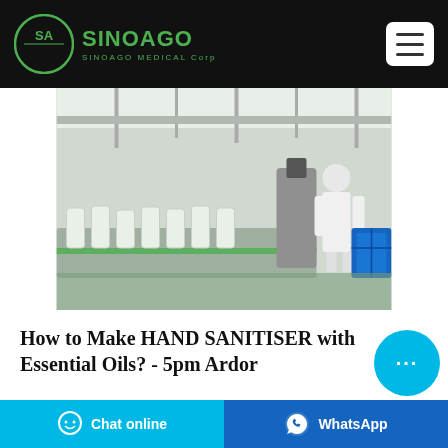SinoAgo SINOAGO MEDICAL Corp
[Figure (photo): Factory/manufacturing line photo showing workers in white coats operating bottling/filling industrial equipment with blue crates visible]
How to Make HAND SANITISER with Essential Oils? - 5pm Ardor
Aug 02, 2021·On the other hand,
Chat online | WhatsApp